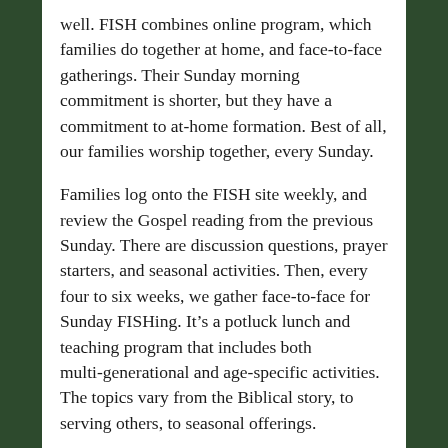well. FISH combines online program, which families do together at home, and face-to-face gatherings. Their Sunday morning commitment is shorter, but they have a commitment to at-home formation. Best of all, our families worship together, every Sunday.
Families log onto the FISH site weekly, and review the Gospel reading from the previous Sunday. There are discussion questions, prayer starters, and seasonal activities. Then, every four to six weeks, we gather face-to-face for Sunday FISHing. It's a potluck lunch and teaching program that includes both multi-generational and age-specific activities. The topics vary from the Biblical story, to serving others, to seasonal offerings.
We've completed our second year of FISH and